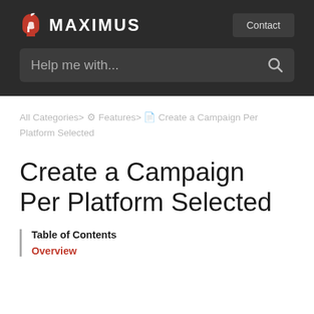[Figure (logo): MAXIMUS logo with red Spartan helmet icon and white bold text MAXIMUS]
Contact
Help me with...
All Categories > Features > Create a Campaign Per Platform Selected
Create a Campaign Per Platform Selected
Table of Contents
Overview